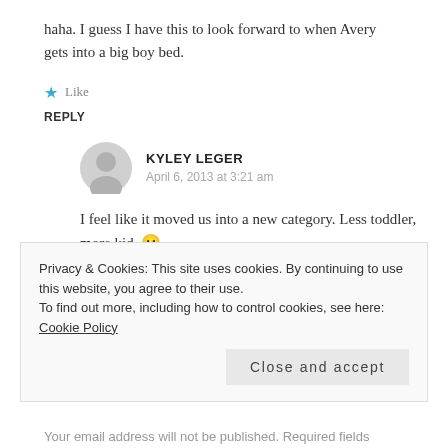haha. I guess I have this to look forward to when Avery gets into a big boy bed.
★ Like
REPLY
KYLEY LEGER
April 6, 2013 at 3:21 am
I feel like it moved us into a new category. Less toddler, more kid. 😐
★ Like
Privacy & Cookies: This site uses cookies. By continuing to use this website, you agree to their use.
To find out more, including how to control cookies, see here: Cookie Policy
Close and accept
Your email address will not be published. Required fields...